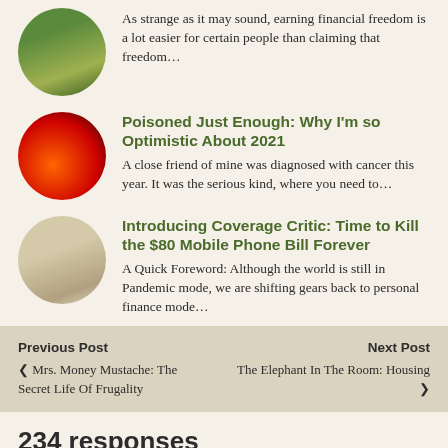As strange as it may sound, earning financial freedom is a lot easier for certain people than claiming that freedom…
Poisoned Just Enough: Why I'm so Optimistic About 2021
A close friend of mine was diagnosed with cancer this year. It was the serious kind, where you need to…
Introducing Coverage Critic: Time to Kill the $80 Mobile Phone Bill Forever
A Quick Foreword: Although the world is still in Pandemic mode, we are shifting gears back to personal finance mode…
Previous Post
< Mrs. Money Mustache: The Secret Life Of Frugality
Next Post
The Elephant In The Room: Housing >
234 responses
Kathy P.
May 10, 2011